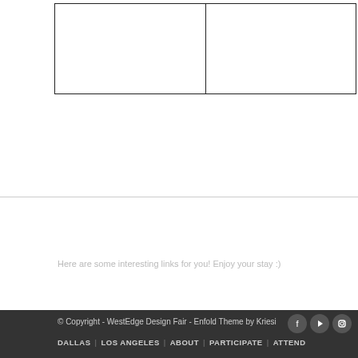|  |  |
Here are some interesting links for you! Enjoy your stay :)
© Copyright - WestEdge Design Fair - Enfold Theme by Kriesi
DALLAS | LOS ANGELES | ABOUT | PARTICIPATE | ATTEND | CONTACT US